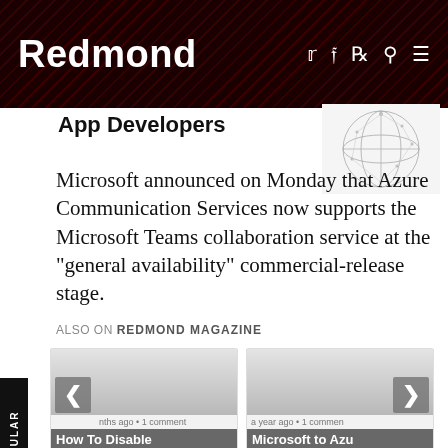Redmond
App Developers
[Figure (illustration): Wireframe globe/network sphere illustration]
Microsoft announced on Monday that Azure Communication Services now supports the Microsoft Teams collaboration service at the "general availability" commercial-release stage.
MOST POPULAR
ALSO ON REDMOND MAGAZINE
[Figure (screenshot): Card: How To Disable Windows 10 S — a few months ago • 1 comment]
[Figure (screenshot): Card: Microsoft to Azure Cosmos DB Users — a year ago • 1 comment]